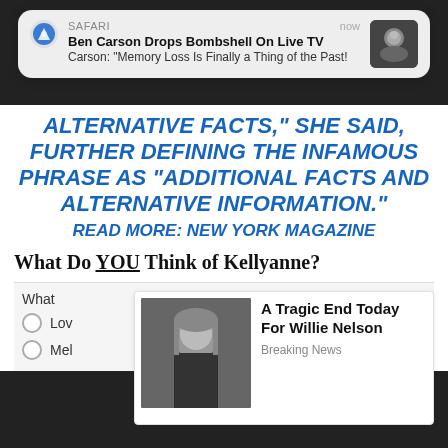[Figure (screenshot): Safari push notification: 'Ben Carson Drops Bombshell On Live TV' / 'Carson: "Memory Loss Is Finally a Thing of the Past!"' with thumbnail and 'now' timestamp]
ALTERNATIVE FACTS,” SHE SAID, FURTHER DEFINING THE INFAMOUS PHRASE AS “ADDITIONAL FACTS AND ALTERNATIVE INFORMATION.”
READ MORE: NEW YORK MAGAZINE
What Do YOU Think of Kellyanne?
What
Lov
Mel
[Figure (photo): Ad overlay showing Willie Nelson photo with text 'A Tragic End Today For Willie Nelson' and tag 'Breaking News']